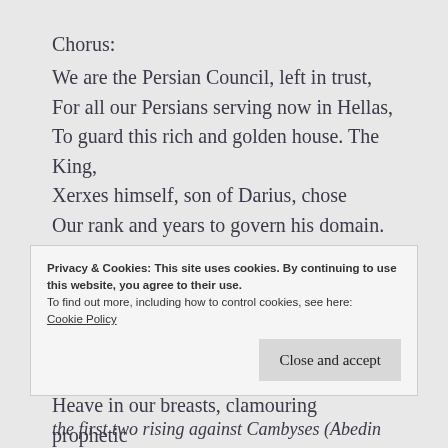Chorus:
We are the Persian Council, left in trust,
For all our Persians serving now in Hellas,
To guard this rich and golden house. The King,
Xerxes himself, son of Darius, chose
Our rank and years to govern his domain.
But when will they return–Xerxes our king
And all his gold-clad armament? Our hearts
Heave in our breasts, clamouring prophetic
Privacy & Cookies: This site uses cookies. By continuing to use this website, you agree to their use.
To find out more, including how to control cookies, see here:
Cookie Policy
Close and accept
the first two rising against Cambyses (Abedin